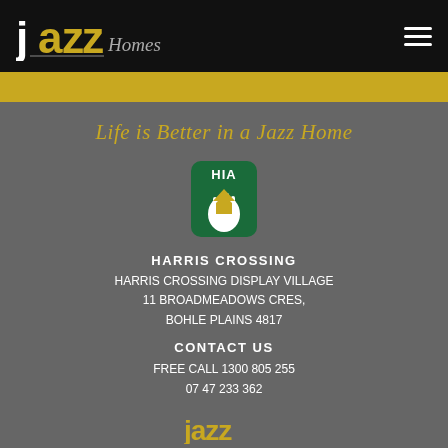Jazz Homes logo and navigation menu
[Figure (logo): Jazz Homes logo: bold white/gold 'jazz' text with italic grey 'Homes' script on black background]
Life is Better in a Jazz Home
[Figure (logo): HIA (Housing Industry Association) badge logo: green badge with white hand holding a yellow house shape]
HARRIS CROSSING
HARRIS CROSSING DISPLAY VILLAGE
11 BROADMEADOWS CRES,
BOHLE PLAINS 4817
CONTACT US
FREE CALL 1300 805 255
07 47 233 362
[Figure (logo): Jazz Homes footer logo in gold/yellow]